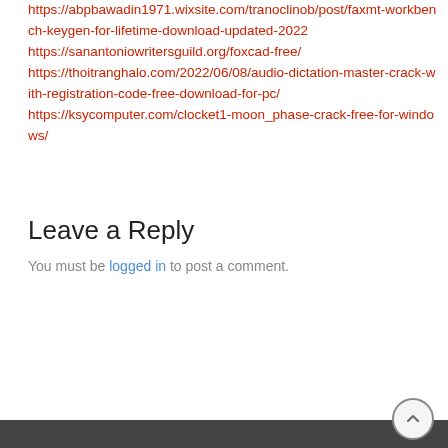https://abpbawadin1971.wixsite.com/tranoclinob/post/faxmt-workbench-keygen-for-lifetime-download-updated-2022
https://sanantoniowritersguild.org/foxcad-free/
https://thoitranghalo.com/2022/06/08/audio-dictation-master-crack-with-registration-code-free-download-for-pc/
https://ksycomputer.com/clocket1-moon_phase-crack-free-for-windows/
Leave a Reply
You must be logged in to post a comment.